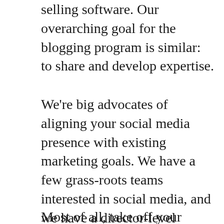selling software. Our overarching goal for the blogging program is similar: to share and develop expertise.
We're big advocates of aligning your social media presence with existing marketing goals. We have a few grass-roots teams interested in social media, and we have a director-level Marketing 2.0 Council that our Social Media Manager Dave Thomas leads to determine broad guidelines and strategies. But the overarching concept is to look at the goals of your individual marketing campaigns first, and then determine which social media channels might help you reach those goals.
Most of all, take off your marketing hat when